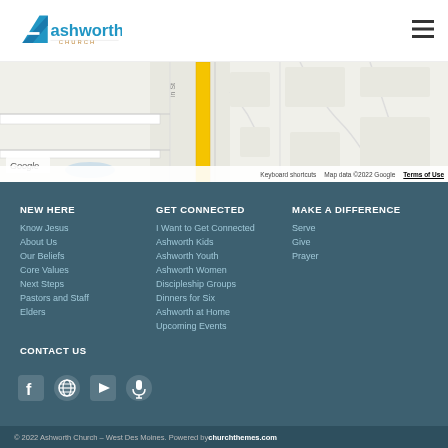[Figure (logo): Ashworth Church logo with blue triangle/A shape and 'CHURCH' text below]
[Figure (map): Google Maps view of street area near Ashworth Church location]
NEW HERE
Know Jesus
About Us
Our Beliefs
Core Values
Next Steps
Pastors and Staff
Elders
GET CONNECTED
I Want to Get Connected
Ashworth Kids
Ashworth Youth
Ashworth Women
Discipleship Groups
Dinners for Six
Ashworth at Home
Upcoming Events
MAKE A DIFFERENCE
Serve
Give
Prayer
CONTACT US
[Figure (infographic): Social media icons: Facebook, Globe/website, YouTube, Microphone/podcast]
© 2022 Ashworth Church – West Des Moines. Powered by churchthemes.com